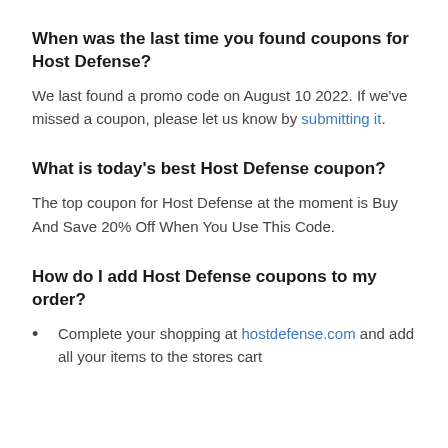When was the last time you found coupons for Host Defense?
We last found a promo code on August 10 2022. If we've missed a coupon, please let us know by submitting it.
What is today's best Host Defense coupon?
The top coupon for Host Defense at the moment is Buy And Save 20% Off When You Use This Code.
How do I add Host Defense coupons to my order?
Complete your shopping at hostdefense.com and add all your items to the stores cart